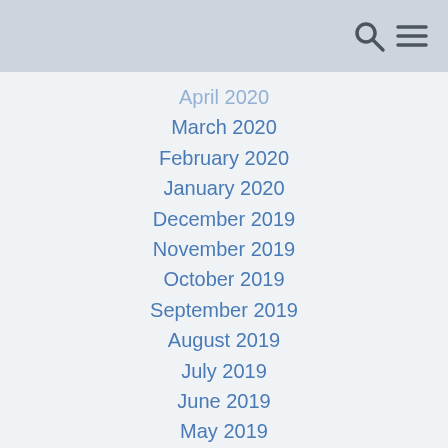April 2020
March 2020
February 2020
January 2020
December 2019
November 2019
October 2019
September 2019
August 2019
July 2019
June 2019
May 2019
April 2019
February 2019
January 2019
December 2018
November 2018
October 2018
September 2018
August 2018
July 2018